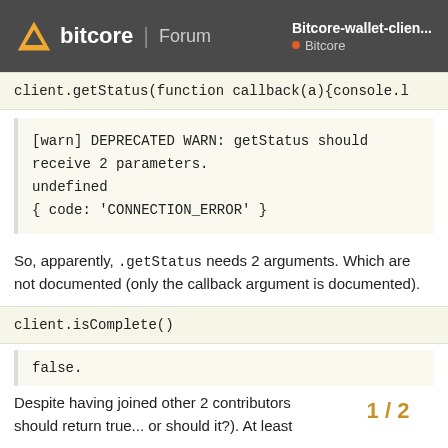bitcore | Forum | Bitcore-wallet-clien... | Bitcore
client.getStatus(function callback(a){console.l
[warn] DEPRECATED WARN: getStatus should receive 2 parameters.
undefined
{ code: 'CONNECTION_ERROR' }
So, apparently, .getStatus needs 2 arguments. Which are not documented (only the callback argument is documented).
client.isComplete()
false.
Despite having joined other 2 contributors should return true... or should it?). At least
1 / 2